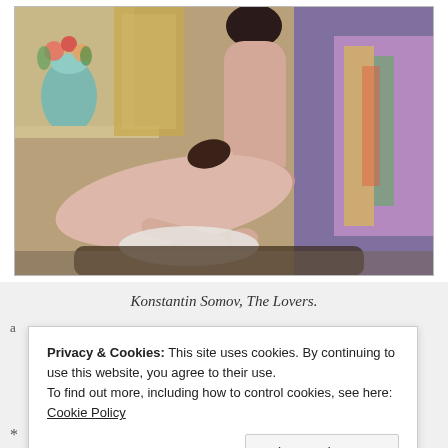[Figure (illustration): Painting by Konstantin Somov titled 'The Lovers' showing two nude figures in an interior setting with a vase of flowers and mirror in the background.]
Konstantin Somov, The Lovers.
Privacy & Cookies: This site uses cookies. By continuing to use this website, you agree to their use.
To find out more, including how to control cookies, see here: Cookie Policy
Close and accept
* * *